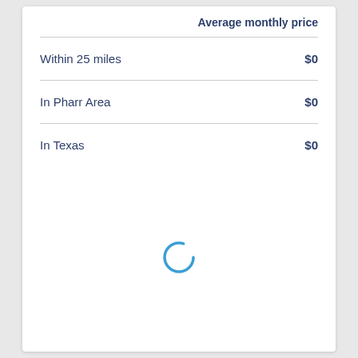|  | Average monthly price |
| --- | --- |
| Within 25 miles | $0 |
| In Pharr Area | $0 |
| In Texas | $0 |
[Figure (other): Loading spinner — a partial blue circle indicating content is loading]